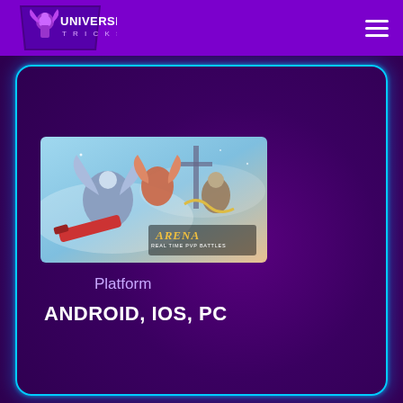[Figure (logo): Universe Tricks logo with purple trapezoid background and stylized character icon, text 'UNIVERSE TRICKS']
[Figure (screenshot): Arena mobile game artwork showing fantasy characters in battle, with 'ARENA REAL TIME PVP BATTLES' text overlay]
Platform
ANDROID, IOS, PC